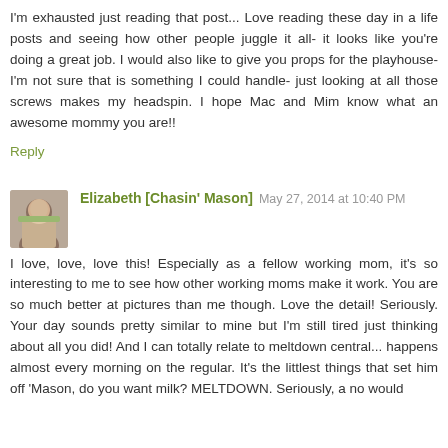I'm exhausted just reading that post... Love reading these day in a life posts and seeing how other people juggle it all- it looks like you're doing a great job. I would also like to give you props for the playhouse- I'm not sure that is something I could handle- just looking at all those screws makes my headspin. I hope Mac and Mim know what an awesome mommy you are!!
Reply
Elizabeth [Chasin' Mason]  May 27, 2014 at 10:40 PM
I love, love, love this! Especially as a fellow working mom, it's so interesting to me to see how other working moms make it work. You are so much better at pictures than me though. Love the detail! Seriously. Your day sounds pretty similar to mine but I'm still tired just thinking about all you did! And I can totally relate to meltdown central... happens almost every morning on the regular. It's the littlest things that set him off 'Mason, do you want milk? MELTDOWN. Seriously, a no would